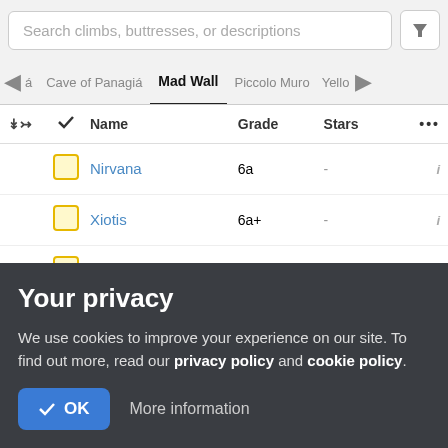Search climbs, buttresses, or descriptions
| sort | check | Name | Grade | Stars | ... |
| --- | --- | --- | --- | --- | --- |
| yellow-checkbox | Nirvana | 6a | - | i |
| yellow-checkbox | Xiotis | 6a+ | - | i |
| yellow-checkbox | I am a Hero | 6a | - | i |
| pink-checkbox | Don't Panic | 6b | - | i |
Your privacy
We use cookies to improve your experience on our site. To find out more, read our privacy policy and cookie policy.
✓ OK   More information